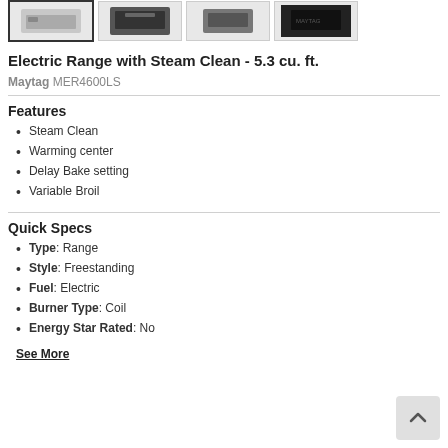[Figure (photo): Four product thumbnail images of an electric range (Maytag MER4600LS), first thumbnail selected with bold border showing front view in stainless, others showing different angles.]
Electric Range with Steam Clean - 5.3 cu. ft.
Maytag MER4600LS
Features
Steam Clean
Warming center
Delay Bake setting
Variable Broil
Quick Specs
Type: Range
Style: Freestanding
Fuel: Electric
Burner Type: Coil
Energy Star Rated: No
See More